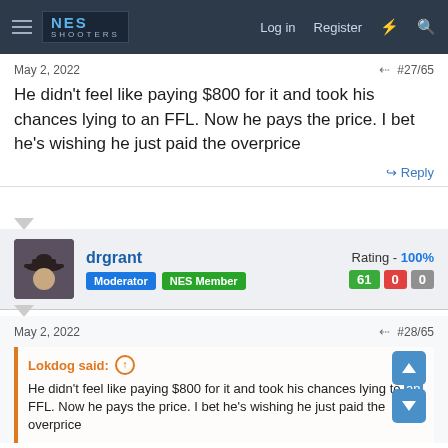NES Shooters — Log in | Register
May 2, 2022   #27/65
He didn't feel like paying $800 for it and took his chances lying to an FFL. Now he pays the price. I bet he's wishing he just paid the overprice
Reply
drgrant — Moderator, NES Member — Rating - 100% — 61 / 0 / 0
May 2, 2022   #28/65
Lokdog said: He didn't feel like paying $800 for it and took his chances lying to an FFL. Now he pays the price. I bet he's wishing he just paid the overprice